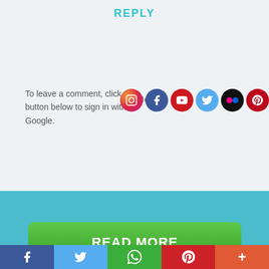REPLY
To leave a comment, click the button below to sign in with Google.
[Figure (infographic): Row of social media icon circles: Instagram (pink), Facebook (blue), YouTube (red), Twitter (light blue), Flickr (black), Pinterest (dark red), Tumblr (navy), RSS (orange)]
Follow
SIGN IN WITH GOOGLE
Look at the brightside!! You are going to speak out! Thanks for dropping by :)
[Figure (other): Teal/blue background section]
READ MORE
[Figure (infographic): Bottom share bar with Facebook (blue), Twitter (light blue), WhatsApp (green), Pinterest (red), More (orange) icons]